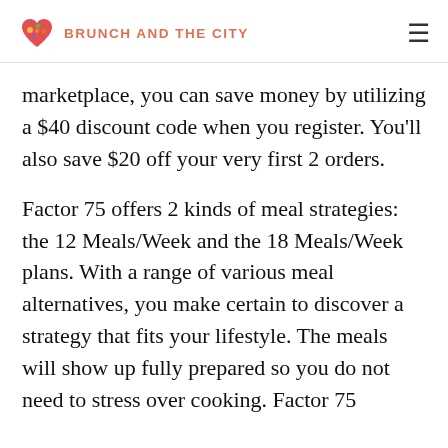BRUNCH AND THE CITY
marketplace, you can save money by utilizing a $40 discount code when you register. You’ll also save $20 off your very first 2 orders.
Factor 75 offers 2 kinds of meal strategies: the 12 Meals/Week and the 18 Meals/Week plans. With a range of various meal alternatives, you make certain to discover a strategy that fits your lifestyle. The meals will show up fully prepared so you do not need to stress over cooking. Factor 75